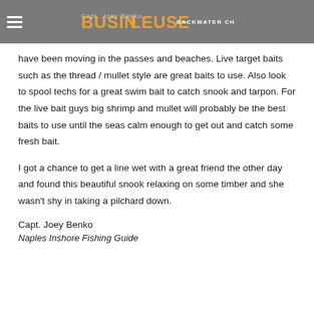Busin Leuse Backwater Charters
have been moving in the passes and beaches.  Live target baits such as the thread / mullet style are great baits to use.  Also look to spool techs for a great swim bait to catch snook and tarpon.  For the live bait guys big shrimp and mullet will probably be the best baits to use until the seas calm enough to get out and catch some fresh bait.
I got a chance to get a line wet with a great friend the other day and found this beautiful snook relaxing on some timber and she wasn't shy in taking a pilchard down.
Capt. Joey Benko
Naples Inshore Fishing Guide